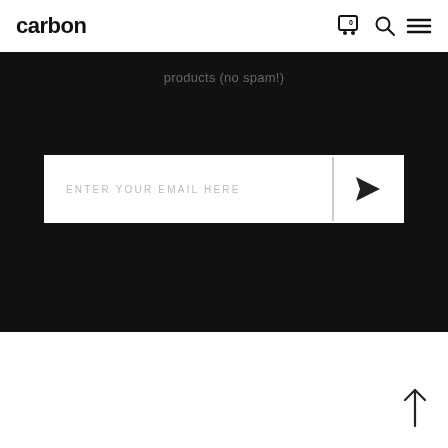carbon
products (no spam!)
[Figure (screenshot): Email subscription input form with placeholder text ENTER YOUR EMAIL HERE and a send/submit arrow button on the right]
[Figure (other): Back to top upward arrow icon in bottom right corner]